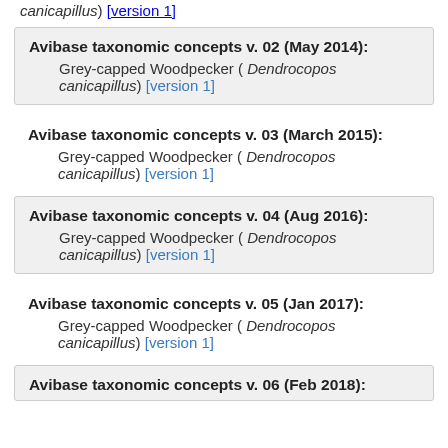canicapillus) [version 1]
Avibase taxonomic concepts v. 02 (May 2014): Grey-capped Woodpecker ( Dendrocopos canicapillus) [version 1]
Avibase taxonomic concepts v. 03 (March 2015): Grey-capped Woodpecker ( Dendrocopos canicapillus) [version 1]
Avibase taxonomic concepts v. 04 (Aug 2016): Grey-capped Woodpecker ( Dendrocopos canicapillus) [version 1]
Avibase taxonomic concepts v. 05 (Jan 2017): Grey-capped Woodpecker ( Dendrocopos canicapillus) [version 1]
Avibase taxonomic concepts v. 06 (Feb 2018):